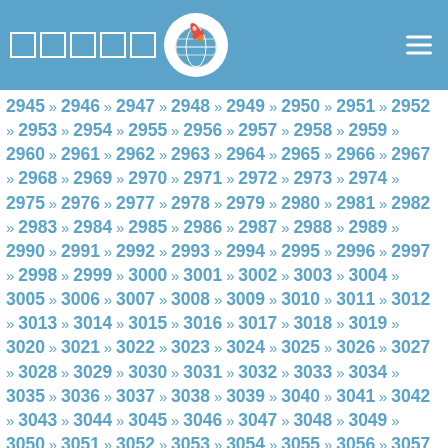Header with logo and navigation squares
2945 » 2946 » 2947 » 2948 » 2949 » 2950 » 2951 » 2952 » 2953 » 2954 » 2955 » 2956 » 2957 » 2958 » 2959 » 2960 » 2961 » 2962 » 2963 » 2964 » 2965 » 2966 » 2967 » 2968 » 2969 » 2970 » 2971 » 2972 » 2973 » 2974 » 2975 » 2976 » 2977 » 2978 » 2979 » 2980 » 2981 » 2982 » 2983 » 2984 » 2985 » 2986 » 2987 » 2988 » 2989 » 2990 » 2991 » 2992 » 2993 » 2994 » 2995 » 2996 » 2997 » 2998 » 2999 » 3000 » 3001 » 3002 » 3003 » 3004 » 3005 » 3006 » 3007 » 3008 » 3009 » 3010 » 3011 » 3012 » 3013 » 3014 » 3015 » 3016 » 3017 » 3018 » 3019 » 3020 » 3021 » 3022 » 3023 » 3024 » 3025 » 3026 » 3027 » 3028 » 3029 » 3030 » 3031 » 3032 » 3033 » 3034 » 3035 » 3036 » 3037 » 3038 » 3039 » 3040 » 3041 » 3042 » 3043 » 3044 » 3045 » 3046 » 3047 » 3048 » 3049 » 3050 » 3051 » 3052 » 3053 » 3054 » 3055 » 3056 » 3057 » 3058 » 3059 » 3060 » 3061 » 3062 » 3063 » 3064 » 3065 » 3066 » 3067 » 3068 » 3069 » 3070 » 3071 » 3072 » 3073 » 3074 » 3075 » 3076 » 3077 » 3078 » 3079 » 3080 » 3081 » 3082 » 3083 » 3084 » 3085 » 3086 » 3087 » 3088 » 3089 » 3090 » 3091 » 3092 » 3093 » 3094 » 3095 » 3096 » 3097 » 3098 » 3099 » 3100 » 3101 » 3102 » 3103 » 3104 » 3105 » 3106 » 3107 » 3108 » 3109 » 3110 » 3111 » 3112 » 3113 » 3114 » 3115 » 3116 » 3117 » 3118 » 3119 » 3120 » 3121 » 3122 » 3123 » 3124 » 3125 » 3126 » 3127 » 3128 » 3129 » 3130 » 3131 » 3132 » 3133